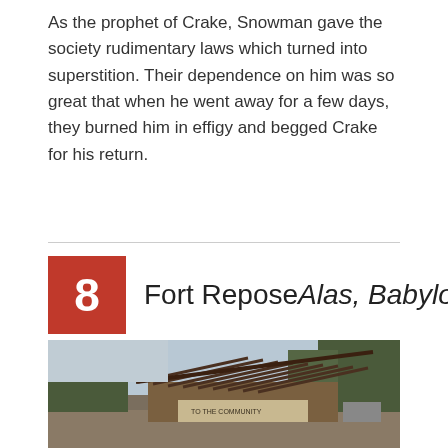As the prophet of Crake, Snowman gave the society rudimentary laws which turned into superstition. Their dependence on him was so great that when he went away for a few days, they burned him in effigy and begged Crake for his return.
8  Fort Repose Alas, Babylon
[Figure (photo): Outdoor photo of a rustic wooden structure with a diagonal lattice roof, set against trees and a pale sky. A sign on the building reads text related to 'the community'. The image has a reflection effect at the bottom.]